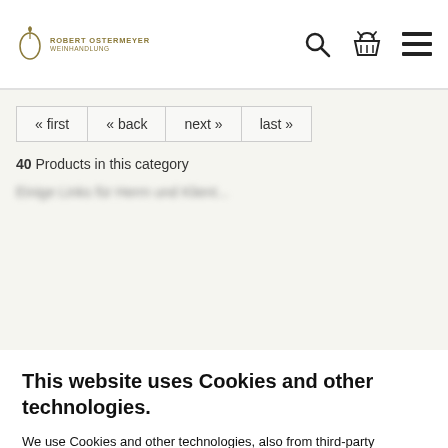Robert Ostermeyer Weinhandlung
« first « back next » last »
40 Products in this category
This website uses Cookies and other technologies.
We use Cookies and other technologies, also from third-party suppliers, to ensure the basic functionalities and analyze the usage of our website in order to provide you with the best shopping experience possible. You can find more information in our Privacy Notice.
Accept all
Only Essentials
More information